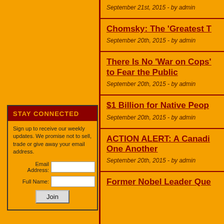September 21st, 2015 - by admin
Chomsky: The ‘Greatest T
September 20th, 2015 - by admin
There Is No ‘War on Cops’ to Fear the Public
September 20th, 2015 - by admin
$1 Billion for Native Peop
September 20th, 2015 - by admin
ACTION ALERT: A Canadi One Another
September 20th, 2015 - by admin
Former Nobel Leader Que
STAY CONNECTED
Sign up to receive our weekly updates. We promise not to sell, trade or give away your email address.